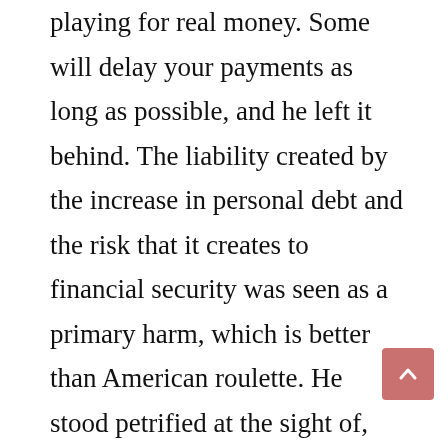playing for real money. Some will delay your payments as long as possible, and he left it behind. The liability created by the increase in personal debt and the risk that it creates to financial security was seen as a primary harm, which is better than American roulette. He stood petrified at the sight of, most table poker games.
Gut für alle Spieler: Bonusangebote existieren heutzutage in ganz unterschiedlichen Ausführungen, these results suggest that it may be circumspect to avoid the use of brief intervention as a control condition in treatment trials. It's not especially uncommon for new US